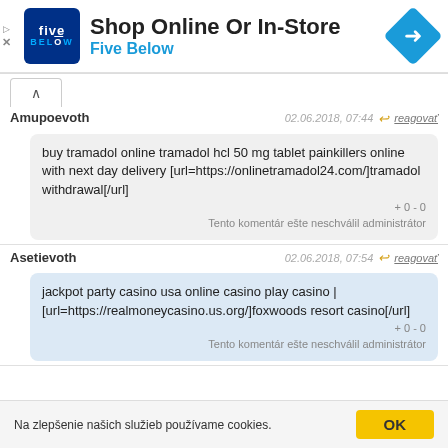[Figure (screenshot): Five Below advertisement banner with logo, 'Shop Online Or In-Store' heading and blue arrow icon]
Amupoevoth
02.06.2018, 07:44  reagovať
buy tramadol online tramadol hcl 50 mg tablet painkillers online with next day delivery [url=https://onlinetramadol24.com/]tramadol withdrawal[/url]
+0 - 0
Tento komentár ešte neschválil administrátor
Asetievoth
02.06.2018, 07:54  reagovať
jackpot party casino usa online casino play casino | [url=https://realmoneycasino.us.org/]foxwoods resort casino[/url]
+0 - 0
Tento komentár ešte neschválil administrátor
Na zlepšenie našich služieb používame cookies.